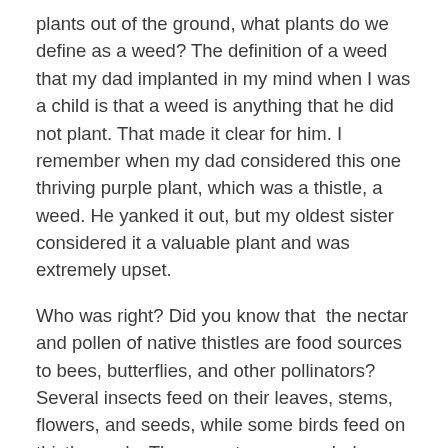plants out of the ground, what plants do we define as a weed?  The definition of a weed that my dad implanted in my mind when I was a child is that a weed is anything that he did not plant.  That made it clear for him. I remember when my dad considered this one thriving purple plant, which was a thistle, a weed.  He yanked it out, but my oldest sister considered it a valuable plant and was extremely upset.
Who was right?  Did you know that  the nectar and pollen of native thistles are food sources to bees, butterflies, and other pollinators?  Several insects feed on their leaves, stems, flowers, and seeds, while some birds feed on thistle seeds. These nectar sources help support pollinators .
But there are many “weeds” that are toxic. These weeds can steal water, sunlight, and nutrients from